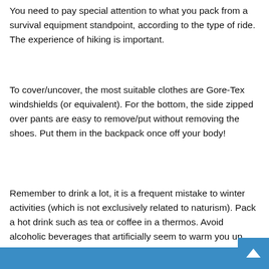You need to pay special attention to what you pack from a survival equipment standpoint, according to the type of ride. The experience of hiking is important.
To cover/uncover, the most suitable clothes are Gore-Tex windshields (or equivalent). For the bottom, the side zipped over pants are easy to remove/put without removing the shoes. Put them in the backpack once off your body!
Remember to drink a lot, it is a frequent mistake to winter activities (which is not exclusively related to naturism). Pack a hot drink such as tea or coffee in a thermos. Avoid alcoholic beverages that artificially seem to warm you up, but actually numb the sensations, at the risk of inhibiting your body's reaction to the cold. Naturists respect their bodies.
[Figure (other): Blue bar at the bottom of the page, partial image visible]